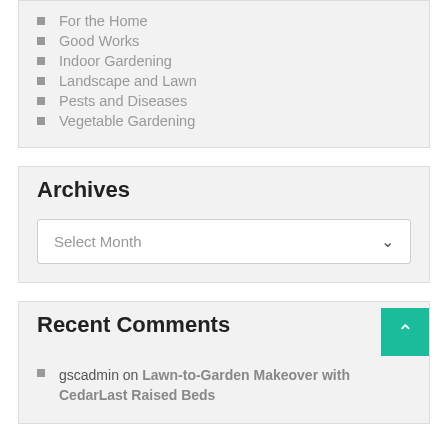For the Home
Good Works
Indoor Gardening
Landscape and Lawn
Pests and Diseases
Vegetable Gardening
Archives
Select Month
Recent Comments
gscadmin on Lawn-to-Garden Makeover with CedarLast Raised Beds